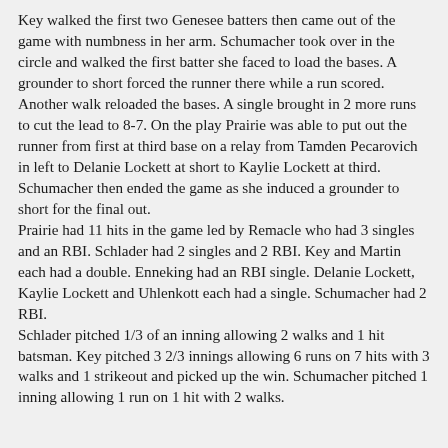Key walked the first two Genesee batters then came out of the game with numbness in her arm. Schumacher took over in the circle and walked the first batter she faced to load the bases. A grounder to short forced the runner there while a run scored. Another walk reloaded the bases. A single brought in 2 more runs to cut the lead to 8-7. On the play Prairie was able to put out the runner from first at third base on a relay from Tamden Pecarovich in left to Delanie Lockett at short to Kaylie Lockett at third. Schumacher then ended the game as she induced a grounder to short for the final out.
Prairie had 11 hits in the game led by Remacle who had 3 singles and an RBI. Schlader had 2 singles and 2 RBI. Key and Martin each had a double. Enneking had an RBI single. Delanie Lockett, Kaylie Lockett and Uhlenkott each had a single. Schumacher had 2 RBI.
Schlader pitched 1/3 of an inning allowing 2 walks and 1 hit batsman. Key pitched 3 2/3 innings allowing 6 runs on 7 hits with 3 walks and 1 strikeout and picked up the win. Schumacher pitched 1 inning allowing 1 run on 1 hit with 2 walks.